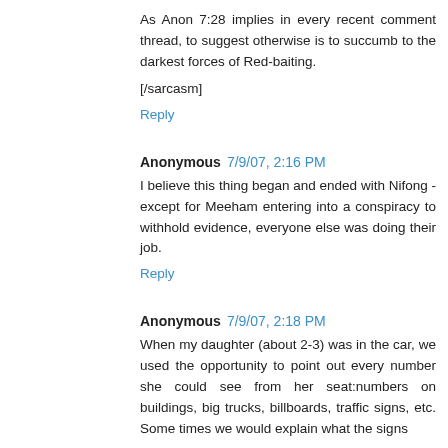As Anon 7:28 implies in every recent comment thread, to suggest otherwise is to succumb to the darkest forces of Red-baiting.
[/sarcasm]
Reply
Anonymous 7/9/07, 2:16 PM
I believe this thing began and ended with Nifong - except for Meeham entering into a conspiracy to withhold evidence, everyone else was doing their job.
Reply
Anonymous 7/9/07, 2:18 PM
When my daughter (about 2-3) was in the car, we used the opportunity to point out every number she could see from her seat:numbers on buildings, big trucks, billboards, traffic signs, etc. Some times we would explain what the signs mean, for like speed limits...